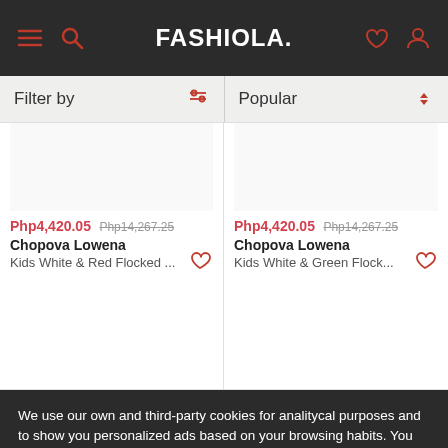FASHIOLA.
Filter by | Popular
Php4,420.05 Php14,267.25
Chopova Lowena
Kids White & Red Flocked ...
Php4,420.05 Php14,267.25
Chopova Lowena
Kids White & Green Flock...
We use our own and third-party cookies for analitycal purposes and to show you personalized ads based on your browsing habits. You can accept all non-necessary cookies by pressing "Accept" or reject them not pressing it.
More information
Accept